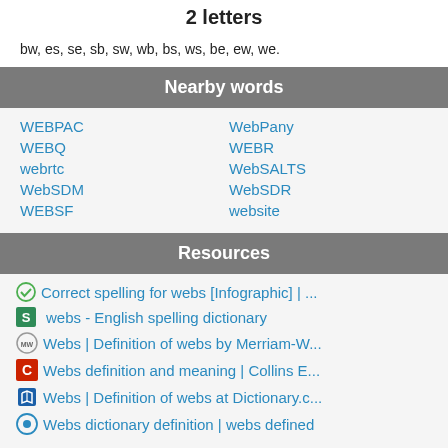2 letters
bw, es, se, sb, sw, wb, bs, ws, be, ew, we.
Nearby words
WEBPAC
WebPany
WEBQ
WEBR
webrtc
WebSALTS
WebSDM
WebSDR
WEBSF
website
Resources
Correct spelling for webs [Infographic] | ...
webs - English spelling dictionary
Webs | Definition of webs by Merriam-W...
Webs definition and meaning | Collins E...
Webs | Definition of webs at Dictionary.c...
Webs dictionary definition | webs defined